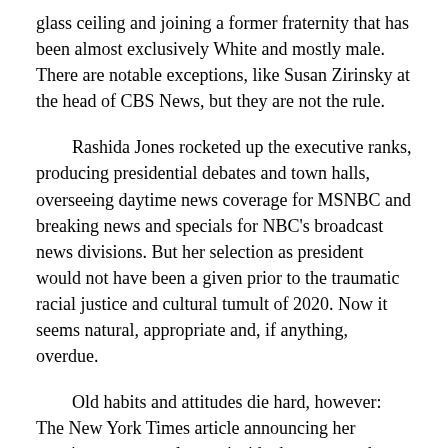glass ceiling and joining a former fraternity that has been almost exclusively White and mostly male. There are notable exceptions, like Susan Zirinsky at the head of CBS News, but they are not the rule.
Rashida Jones rocketed up the executive ranks, producing presidential debates and town halls, overseeing daytime news coverage for MSNBC and breaking news and specials for NBC’s broadcast news divisions. But her selection as president would not have been a given prior to the traumatic racial justice and cultural tumult of 2020. Now it seems natural, appropriate and, if anything, overdue.
Old habits and attitudes die hard, however: The New York Times article announcing her appointment not only was inside the paper at the bottom of a page, the piece devoted most space to the career and favorite pastimes of Phil Griffin, the